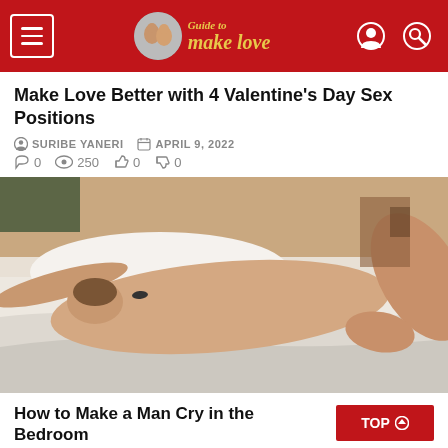Guide to make love
Make Love Better with 4 Valentine's Day Sex Positions
SURIBE YANERI  APRIL 9, 2022
0  250  0  0
[Figure (photo): Couple on a bed with white sheets in a bedroom, editorial/stock photo]
How to Make a Man Cry in the Bedroom
SURIBE YANERI  APRIL 9, 2022